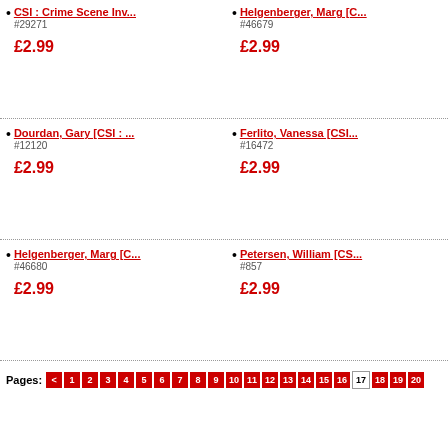CSI : Crime Scene Inv... #29271 £2.99
Helgenberger, Marg [C... #46679 £2.99
Dourdan, Gary [CSI : ... #12120 £2.99
Ferlito, Vanessa [CSI... #16472 £2.99
Helgenberger, Marg [C... #46680 £2.99
Petersen, William [CS... #857 £2.99
Pages: < 1 2 3 4 5 6 7 8 9 10 11 12 13 14 15 16 17 18 19 20